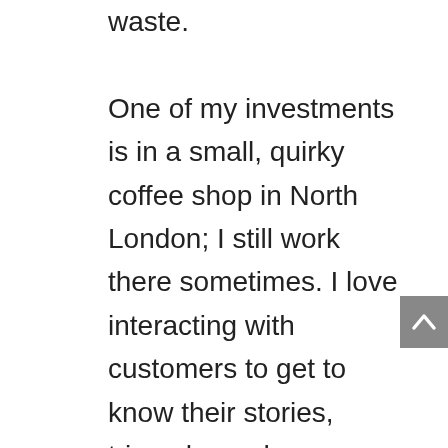waste. One of my investments is in a small, quirky coffee shop in North London; I still work there sometimes. I love interacting with customers to get to know their stories, triumphs and challenges. I'm always elated when customers tell me they are inspired by what I do and they now want to see what they can do for themselves. Recently a customer told me that after our chat she'd now seriously explore